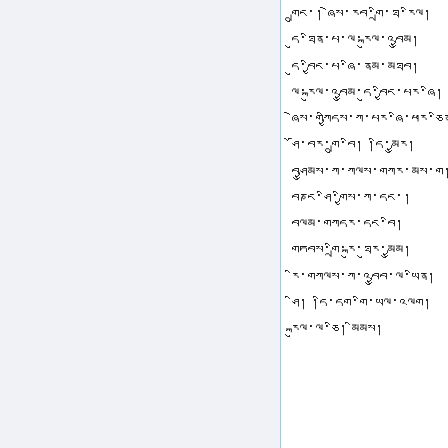Tibetan script text passage (multiple lines of Tibetan script)